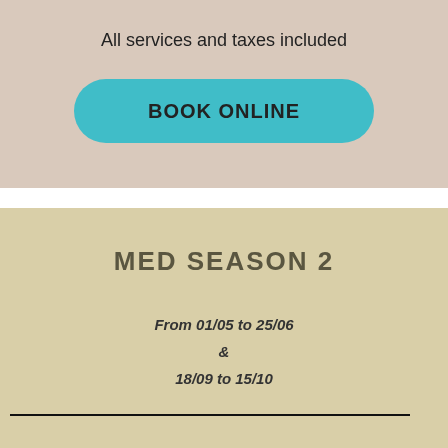All services and taxes included
[Figure (other): Teal rounded rectangle button labeled BOOK ONLINE]
MED SEASON 2
From 01/05 to 25/06
&
18/09 to 15/10
97€